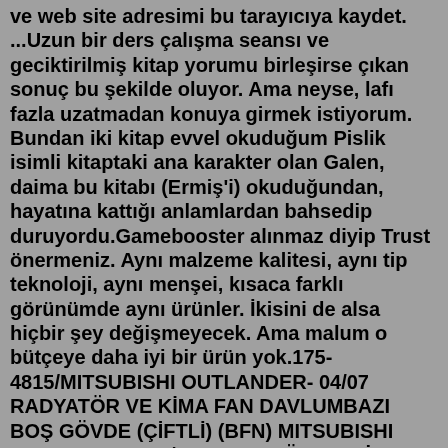ve web site adresimi bu tarayıcıya kaydet. ...Uzun bir ders çalışma seansı ve geciktirilmiş kitap yorumu birleşirse çıkan sonuç bu şekilde oluyor. Ama neyse, lafı fazla uzatmadan konuya girmek istiyorum. Bundan iki kitap evvel okuduğum Pislik isimli kitaptaki ana karakter olan Galen, daima bu kitabı (Ermiş'i) okuduğundan, hayatına kattığı anlamlardan bahsedip duruyordu.Gamebooster alınmaz diyip Trust önermeniz. Aynı malzeme kalitesi, aynı tip teknoloji, aynı menşei, kısaca farklı görünümde aynı ürünler. İkisini de alsa hiçbir şey değişmeyecek. Ama malum o bütçeye daha iyi bir ürün yok.175-4815/MITSUBISHI OUTLANDER- 04/07 RADYATÖR VE KİMA FAN DAVLUMBAZI BOŞ GÖVDE (ÇİFTLİ) (BFN) MITSUBISHI OUTLANDER- 04/07 RADYATÖR VE KİMA FAN DAVLUMBAZI BOŞ GÖVDE (ÇİFTLİ) (BFN) Kategoriler. Elektronik Giyim & Aksesuar Takı & Gözlük & Saat Kozmetik & Kişisel Bakım ...Outlander psikolojik sınırın üstünde çıktı. Ben de